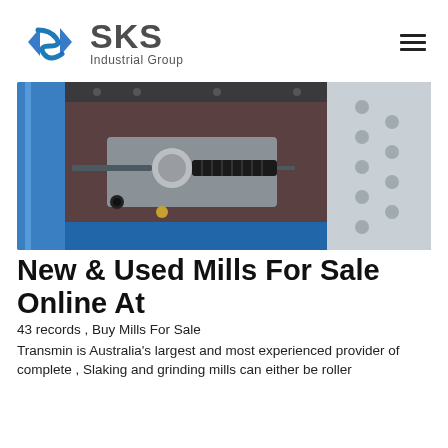[Figure (logo): SKS Industrial Group logo with blue diamond/arrow icon and grey 'SKS' text and 'Industrial Group' subtitle]
[Figure (photo): Close-up photograph of industrial milling machine components including a spring-loaded bolt/rod assembly with disc flange, black spring coil, set against a grey and blue painted metal frame with bolted holes]
New & Used Mills For Sale Online At
43 records , Buy Mills For Sale
Transmin is Australia's largest and most experienced provider of complete , Slaking and grinding mills can either be roller